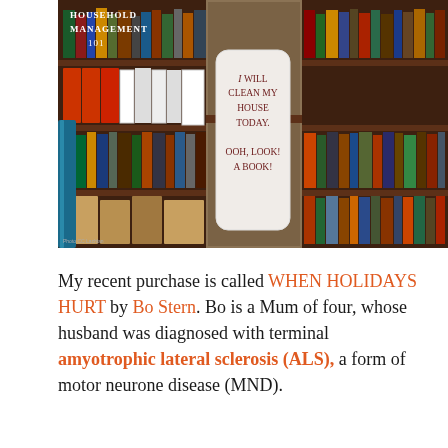[Figure (photo): Photo of a bookshelf filled with books. In the center is a humorous sign that reads 'I WILL CLEAN MY HOUSE TODAY. OOH, LOOK! A BOOK!' with the text 'HOUSEHOLD MANAGEMENT 101' at the top left. Small photo credit text at the bottom left corner.]
My recent purchase is called WHEN HOLIDAYS HURT by Bo Stern. Bo is a Mum of four, whose husband was diagnosed with terminal amyotrophic lateral sclerosis (ALS), a form of motor neurone disease (MND).